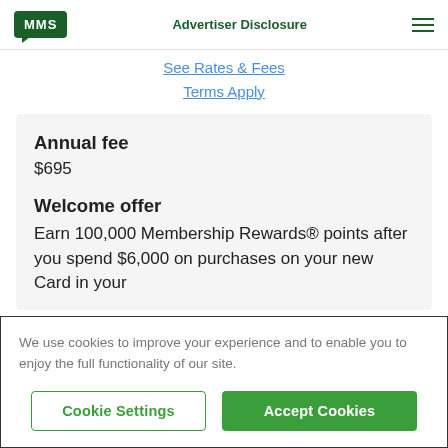MMS | Advertiser Disclosure
See Rates & Fees
Terms Apply
Annual fee
$695
Welcome offer
Earn 100,000 Membership Rewards® points after you spend $6,000 on purchases on your new Card in your
We use cookies to improve your experience and to enable you to enjoy the full functionality of our site.
Cookie Settings | Accept Cookies